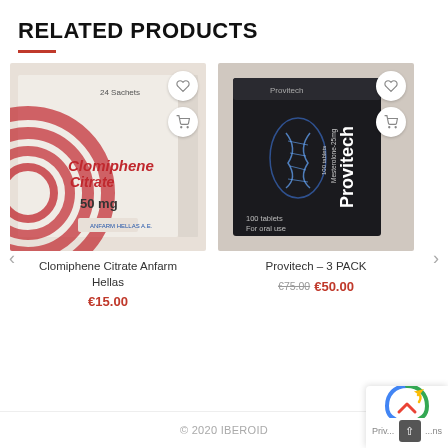RELATED PRODUCTS
[Figure (photo): Product photo of Clomiphene Citrate Anfarm Hellas box, 50mg, 24 sachets]
Clomiphene Citrate Anfarm Hellas
€15.00
[Figure (photo): Product photo of Provitech dark box, Mesterolone 25mg, 100 tablets, for oral use]
Provitech – 3 PACK
€75.00 €50.00
© 2020 IBEROID